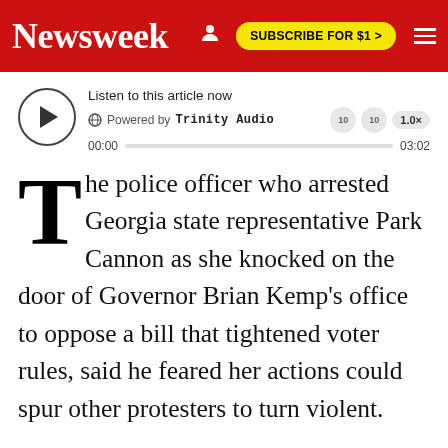Newsweek | SUBSCRIBE FOR $1 >
[Figure (screenshot): Audio player widget: Listen to this article now, Powered by Trinity Audio, 00:00 / 03:02 progress bar, 1.0x speed]
The police officer who arrested Georgia state representative Park Cannon as she knocked on the door of Governor Brian Kemp's office to oppose a bill that tightened voter rules, said he feared her actions could spur other protesters to turn violent.